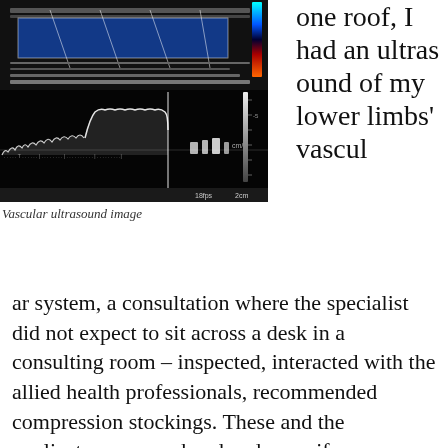[Figure (photo): Vascular ultrasound image showing Doppler waveform with blue color flow region in upper panel and spectral waveform display in lower panel. Labels show 8mm, cm/s, 18fps, 2cm.]
Vascular ultrasound image
one roof, I had an ultrasound of my lower limbs' vascular system, a consultation where the specialist did not expect to sit across a desk in a consulting room – inspected, interacted with the allied health professionals, recommended compression stockings. These and the applicator were on hand and my wife was